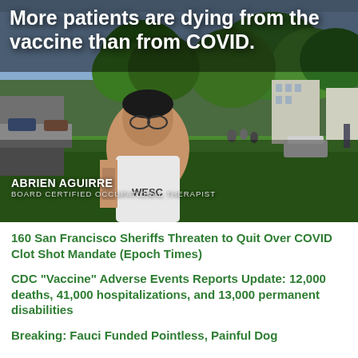[Figure (screenshot): Video still of man identified as Abrien Aguirre, Board Certified Occupational Therapist, standing outdoors near a tree with a park and buildings in background. White overlay text reads: More patients are dying from the vaccine than from COVID.]
More patients are dying from the vaccine than from COVID.
ABRIEN AGUIRRE
BOARD CERTIFIED OCCUPATIONAL THERAPIST
160 San Francisco Sheriffs Threaten to Quit Over COVID Clot Shot Mandate (Epoch Times)
CDC "Vaccine" Adverse Events Reports Update: 12,000 deaths, 41,000 hospitalizations, and 13,000 permanent disabilities
Breaking: Fauci Funded Pointless, Painful Dog